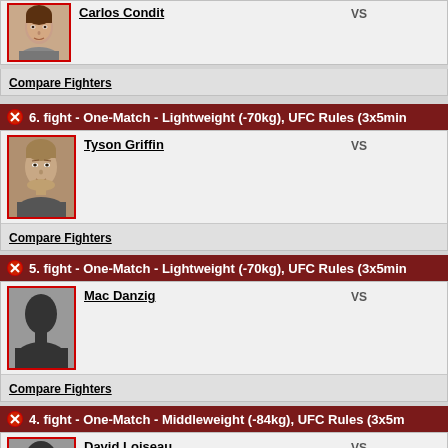Carlos Condit
Compare Fighters
6. fight - One-Match - Lightweight (-70kg), UFC Rules (3x5min)
Tyson Griffin
Compare Fighters
5. fight - One-Match - Lightweight (-70kg), UFC Rules (3x5min)
Mac Danzig
Compare Fighters
4. fight - One-Match - Middleweight (-84kg), UFC Rules (3x5min)
David Loiseau